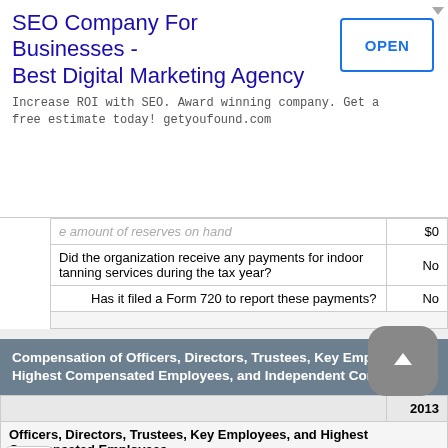[Figure (other): Advertisement banner: SEO Company For Businesses - Best Digital Marketing Agency. Increase ROI with SEO. Award winning company. Get a free estimate today! getyoufound.com. OPEN button.]
| Description | 2013 |
| --- | --- |
| e amount of reserves on hand | $0 |
| Did the organization receive any payments for indoor tanning services during the tax year? | No |
| Has it filed a Form 720 to report these payments? | No |
Compensation of Officers, Directors, Trustees, Key Employees, Highest Compensated Employees, and Independent Contractors
|  | 2013 |
| --- | --- |
| Officers, Directors, Trustees, Key Employees, and Highest Compensated Employees |  |
| Total reportable compensation from the organization | $0 |
| Total reportable compensation from related organizations | $0 |
| Total estimated amount of other compensation from the organization and related organizations | $0 |
| Total number of individuals who received more than $100,000 of | 0 |